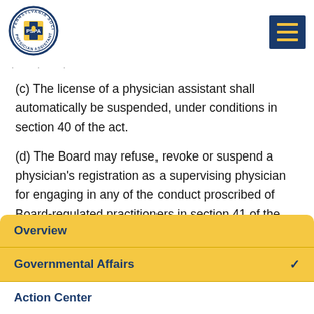[Figure (logo): PSPA Pennsylvania Society Physician Assistants circular seal logo]
(c) The license of a physician assistant shall automatically be suspended, under conditions in section 40 of the act.
(d) The Board may refuse, revoke or suspend a physician's registration as a supervising physician for engaging in any of the conduct proscribed of Board-regulated practitioners in section 41 of the act.
Overview
Governmental Affairs
Action Center